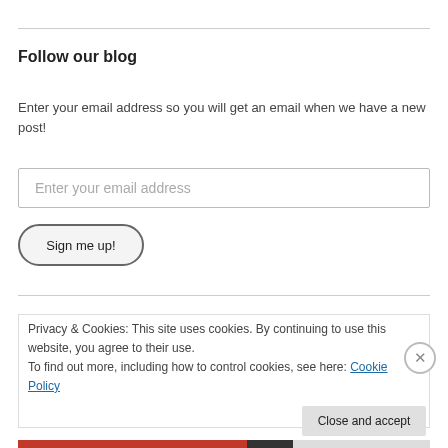Follow our blog
Enter your email address so you will get an email when we have a new post!
Enter your email address
Sign me up!
Privacy & Cookies: This site uses cookies. By continuing to use this website, you agree to their use.
To find out more, including how to control cookies, see here: Cookie Policy
Close and accept